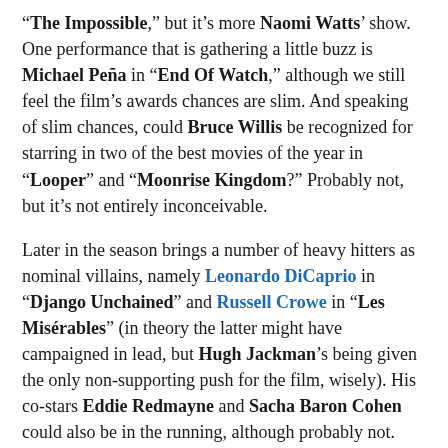“The Impossible,” but it’s more Naomi Watts’ show. One performance that is gathering a little buzz is Michael Peña in “End Of Watch,” although we still feel the film’s awards chances are slim. And speaking of slim chances, could Bruce Willis be recognized for starring in two of the best movies of the year in “Looper” and “Moonrise Kingdom?” Probably not, but it’s not entirely inconceivable.
Later in the season brings a number of heavy hitters as nominal villains, namely Leonardo DiCaprio in “Django Unchained” and Russell Crowe in “Les Misérables” (in theory the latter might have campaigned in lead, but Hugh Jackman’s being given the only non-supporting push for the film, wisely). His co-stars Eddie Redmayne and Sacha Baron Cohen could also be in the running, although probably not. Word is that David Strathairn and Tommy Lee Jones, as William Seward and Thaddeus Stevens, are